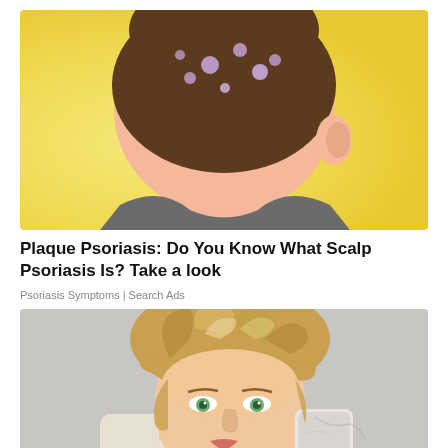[Figure (illustration): Illustrated image showing the back of a person's head/scalp with dark spots indicating scalp psoriasis. The person has short brown hair and is wearing a gray shirt. The background is yellow/warm toned.]
Plaque Psoriasis: Do You Know What Scalp Psoriasis Is? Take a look
Psoriasis Symptoms | Search Ads
[Figure (photo): Photo of a blonde woman with hair in a messy updo bun taking a selfie with an iPhone. She has green eyes and is photographed from slightly below looking down at the camera.]